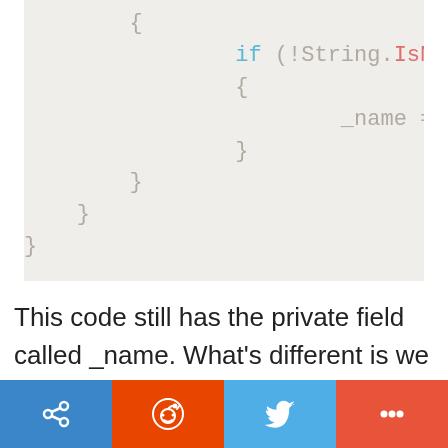[Figure (screenshot): Code snippet showing C# class with closing braces at multiple indentation levels, and an if statement with 'if (!String.IsNul' and '_name = value' assignment inside nested braces.]
This code still has the private field called _name. What's different is we now have a property called Name. In C#, both property and method names should start with an capital letter. Notice the property and...